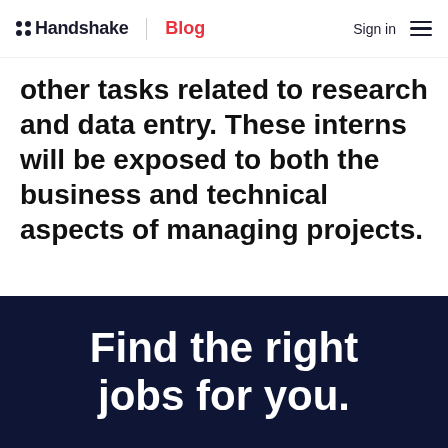Handshake | Blog  Sign in ☰
other tasks related to research and data entry. These interns will be exposed to both the business and technical aspects of managing projects.
Tags: Business and Financial Operations Job Roles
Find the right jobs for you.